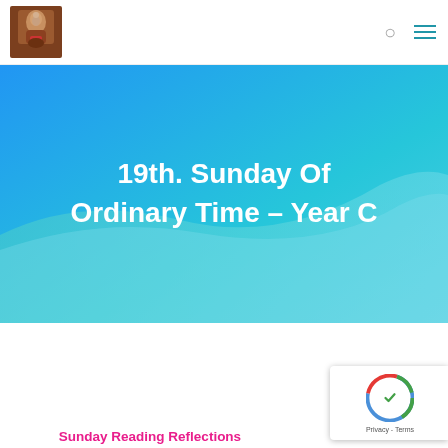Navigation bar with logo, search icon, and menu icon
19th. Sunday Of Ordinary Time – Year C
[Figure (illustration): Decorative religious icon/logo image in top-left corner of navigation bar]
Sunday Reading Reflections